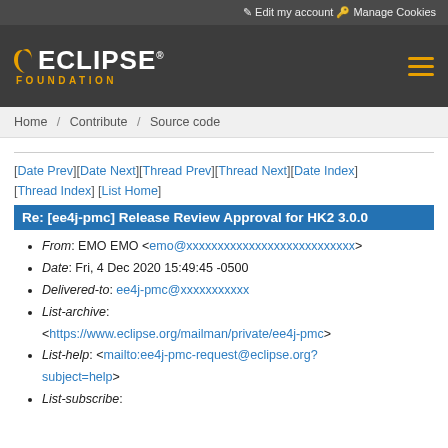Edit my account   Manage Cookies
[Figure (logo): Eclipse Foundation logo with orange arc and text, white ECLIPSE text, orange FOUNDATION text below]
Home / Contribute / Source code
[Date Prev][Date Next][Thread Prev][Thread Next][Date Index][Thread Index] [List Home]
Re: [ee4j-pmc] Release Review Approval for HK2 3.0.0
From: EMO EMO <emo@xxxxxxxxxxxxxxxxxxxxxxxxxxx>
Date: Fri, 4 Dec 2020 15:49:45 -0500
Delivered-to: ee4j-pmc@xxxxxxxxxxx
List-archive: <https://www.eclipse.org/mailman/private/ee4j-pmc>
List-help: <mailto:ee4j-pmc-request@eclipse.org?subject=help>
List-subscribe: